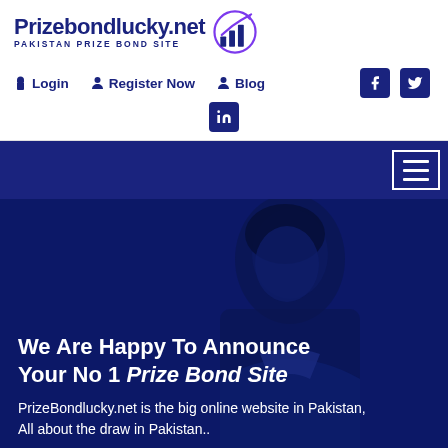[Figure (logo): Prizebondlucky.net logo with bar chart arrow icon and text 'PAKISTAN PRIZE BOND SITE']
🔒 Login  👤 Register Now  👤 Blog  [Facebook] [Twitter] [LinkedIn]
[Figure (screenshot): Dark navy blue navigation bar with hamburger menu icon on the right]
[Figure (photo): Dark blue-tinted photo of a man looking down, serving as hero image background]
We Are Happy To Announce Your No 1 Prize Bond Site
PrizeBondlucky.net is the big online website in Pakistan, All about the draw in Pakistan..